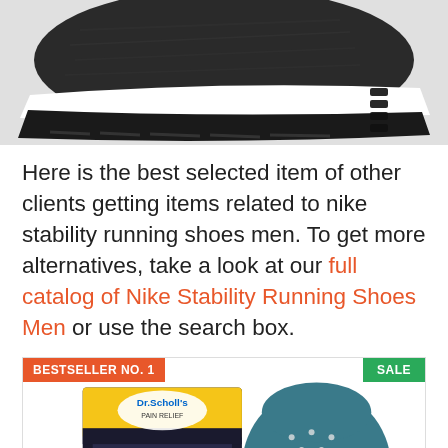[Figure (photo): Partial view of a black and white Nike stability running shoe, showing the sole and side profile from a low angle]
Here is the best selected item of other clients getting items related to nike stability running shoes men. To get more alternatives, take a look at our full catalog of Nike Stability Running Shoes Men or use the search box.
[Figure (photo): Dr. Scholl's Pain Relief Heavy Duty Support insole product — showing the retail packaging on the left (yellow and dark packaging with product name) and the actual insole on the right (teal/blue with white dots and orange heel)]
BESTSELLER NO. 1
SALE